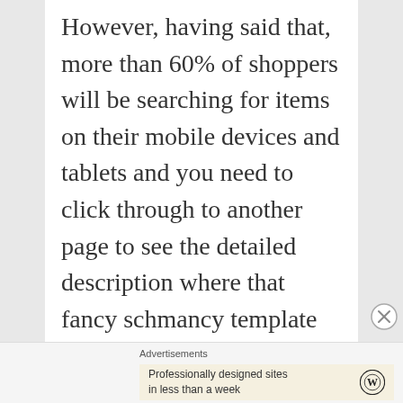However, having said that, more than 60% of shoppers will be searching for items on their mobile devices and tablets and you need to click through to another page to see the detailed description where that fancy schmancy template you had designed is. I for one think that the HTML template will be a thing of the past and eBay will move
Advertisements
Professionally designed sites in less than a week